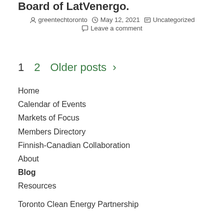Board of LatVenergo.
greentechtoronto  May 12, 2021  Uncategorized  Leave a comment
1  2  Older posts >
Home
Calendar of Events
Markets of Focus
Members Directory
Finnish-Canadian Collaboration
About
Blog
Resources
Toronto Clean Energy Partnership